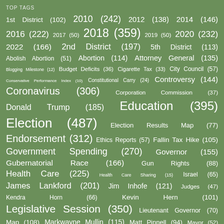TOP TAGS
1st District (102) 2010 (242) 2012 (138) 2014 (146) 2016 (222) 2017 (50) 2018 (359) 2019 (50) 2020 (232) 2022 (166) 2nd District (197) 5th District (113) Abolish Abortion (51) Abortion (114) Attorney General (135) Blogging Milestone (12) Budget Deficits (36) Cigarette Tax (33) City Council (57) Conservative Performance Index (10) Constitutional Carry (24) Controversy (144) Coronavirus (306) Corporation Commission (37) Donald Trump (185) Education (395) Election (487) Election Results Map (77) Endorsement (312) Ethics Reports (57) Fallin Tax Hike (105) Government Spending (270) Governor (155) Gubernatorial Race (166) Gun Rights (88) Health Care (225) Health Care Sharing (15) Israel (65) James Lankford (201) Jim Inhofe (121) Judges (47) Kendra Horn (66) Kevin Hern (101) Legislative Session (350) Lieutenant Governor (70) Map (108) Markwayne Mullin (115) Matt Pinnell (94) Mayor (52) Music Monday (223) Muskogee (231) My Endorsements (45) National Debt (42) OKGOP (230)